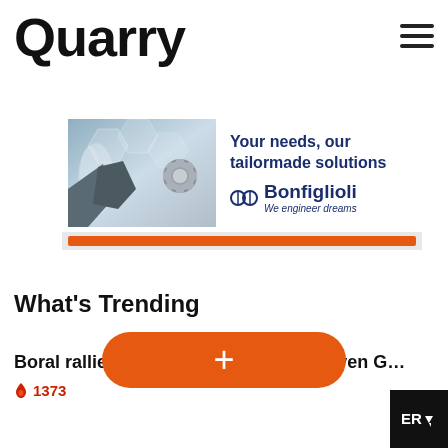Quarry
[Figure (screenshot): Bonfiglioli advertisement banner with industrial quarry image on left and text 'Your needs, our tailormade solutions' with Bonfiglioli logo on right]
[Figure (other): Orange horizontal progress or navigation bar on light grey background]
What's Trending
Boral rallies shareholders to reject Seven G…
🔥 1373
[Figure (other): Orange rounded pill-shaped CTA button with white plus sign]
[Figure (other): Dark black square icon box in bottom right corner with 'ER' text and cursor icon]